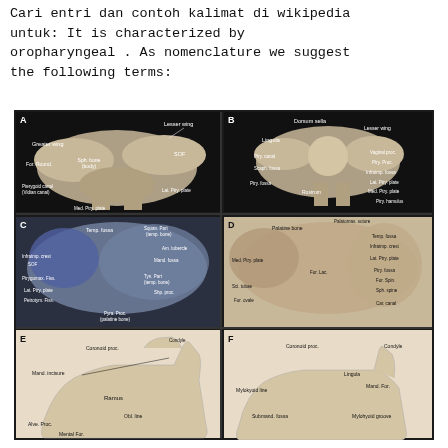Cari entri dan contoh kalimat di wikipedia untuk: It is characterized by oropharyngeal . As nomenclature we suggest the following terms:
[Figure (photo): Six-panel anatomical photograph showing labeled bones. Panels A-B: sphenoid bone from anterior and posterior views with labels including Greater wing, Lesser wing, Sph. bone (body), SOF, For. Round, Pterygoid canal (Vidian canal), Lat. Ptry. plate, Med. Ptry. plate, Lingula, Ptry. canal, Scaph. fossa, Ptry. fossa, Rostrum, Dorsum sella, Vaginal proc., Ptry. Proc., Infratmp. fossa, Lat. Ptry. plate, Med. Ptry. plate, Ptry. hamulus. Panels C-D: temporal and infratemporal fossa views with labels including Temp. fossa, Squan. Part (temp. bone), Am. tubercle, Infratmp. crest, SOF, Mand. fossa, Ptrygomax. Fiss., Tyn. Part (temp. bone), Lat. Ptry. plate, Shp. proc., Petrotym. Fiss., Pyra. Proc. (palatine bone), Palatine bone, Palatomax. suture, Temp. fossa, Infratmp. crest, Med. Ptry. plate, Lat. Ptry. plate, For. Lac., Ptry. fossa, For. Spin., Sci. tubae, Sph. spine, For. ovale, Car. canal. Panels E-F: mandible lateral and medial views with labels including Coronoid proc., Condyle, Mand. incisure, Ramus, Obl. line, Alve. Proc., Mental For., Coronoid proc., Condyle, Lingula, Mylokyoid line, Mand. For., Submand. fossa, Mylohyoid groove.]